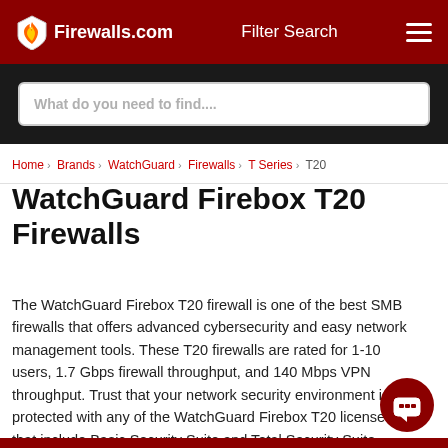Firewalls.com | Filter Search
[Figure (screenshot): Search bar with placeholder text 'What do you need to find....']
Home › Brands › WatchGuard › Firewalls › T Series › T20
WatchGuard Firebox T20 Firewalls
The WatchGuard Firebox T20 firewall is one of the best SMB firewalls that offers advanced cybersecurity and easy network management tools. These T20 firewalls are rated for 1-10 users, 1.7 Gbps firewall throughput, and 140 Mbps VPN throughput. Trust that your network security environment is protected with any of the WatchGuard Firebox T20 licenses that include Basic Security Suite and Total Security Suite enhanced security features.